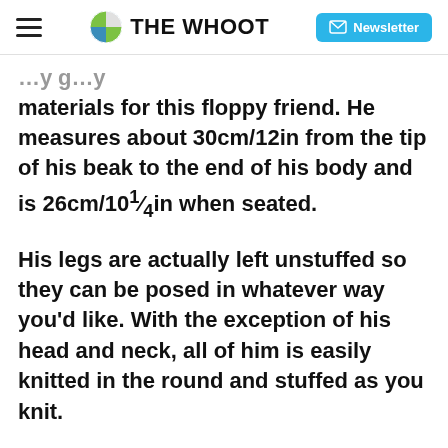THE WHOOT  Newsletter
materials for this floppy friend. He measures about 30cm/12in from the tip of his beak to the end of his body and is 26cm/10¼in when seated.
His legs are actually left unstuffed so they can be posed in whatever way you'd like. With the exception of his head and neck, all of him is easily knitted in the round and stuffed as you knit.